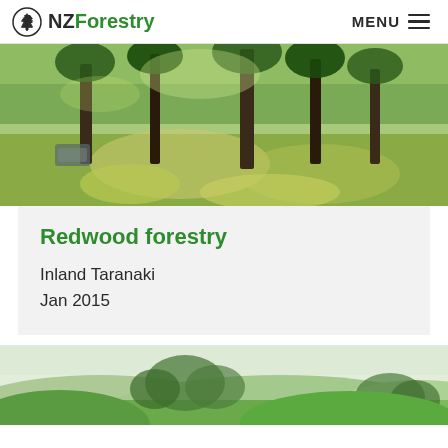NZForestry MENU
[Figure (photo): Forest scene with tall pine trees, green undergrowth and grasses, sunlight filtering through the canopy in Inland Taranaki]
Redwood forestry
Inland Taranaki
Jan 2015
[Figure (photo): Rolling green hills with trees in mist, New Zealand rural landscape]